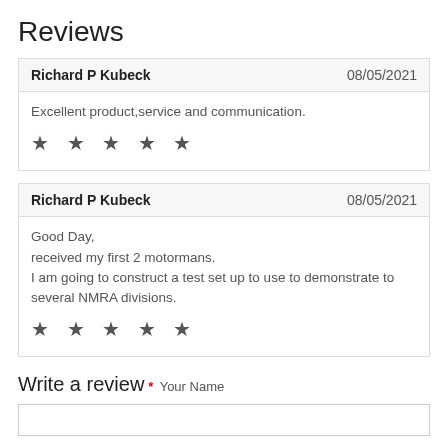Reviews
| Richard P Kubeck | 08/05/2021 |
| --- | --- |
| Excellent product,service and communication.
★ ★ ★ ★ ★ |  |
| Richard P Kubeck | 08/05/2021 |
| --- | --- |
| Good Day,
received my first 2 motormans.
I am going to construct a test set up to use to demonstrate to several NMRA divisions.
★ ★ ★ ★ ★ |  |
Write a review
* Your Name